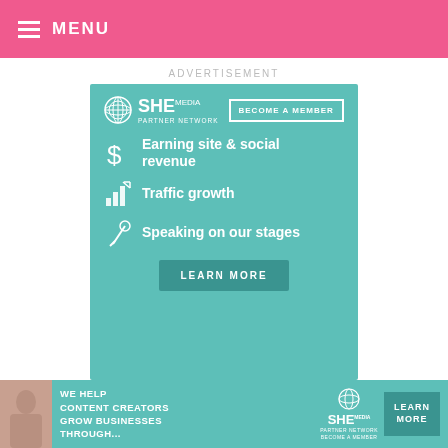≡ MENU
ADVERTISEMENT
[Figure (infographic): SHE Media Partner Network advertisement banner with teal background. Shows SHE Media logo, 'BECOME A MEMBER' button, and three bullet points: 'Earning site & social revenue', 'Traffic growth', 'Speaking on our stages', and a 'LEARN MORE' button.]
Mini hi hats anyone?
[Figure (infographic): SHE Media bottom banner advertisement: 'WE HELP CONTENT CREATORS GROW BUSINESSES THROUGH...' with SHE Media Partner Network logo, woman photo, and 'LEARN MORE' button.]